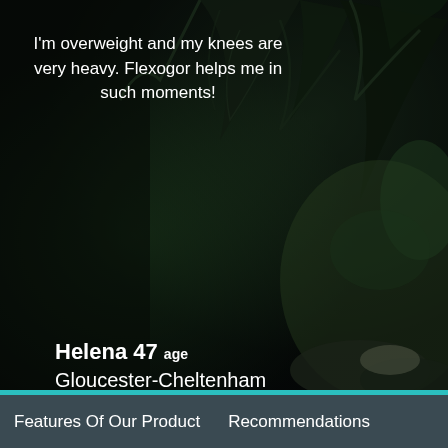[Figure (photo): Dark forest/woodland background photograph with dark green trees, branches, and rocks visible. Used as page background.]
I'm overweight and my knees are very heavy. Flexogor helps me in such moments!
Helena 47 age
Gloucester-Cheltenham
[Figure (photo): Portrait photo of Helena, a woman approximately 47 years old with short grey/brown hair, shown from shoulders up against a green background, framed with a gold-colored frame.]
Features Of Our Product    Recommendations